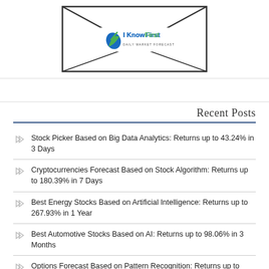[Figure (logo): Envelope illustration with I Know First Daily Market Forecast logo inside]
Recent Posts
Stock Picker Based on Big Data Analytics: Returns up to 43.24% in 3 Days
Cryptocurrencies Forecast Based on Stock Algorithm: Returns up to 180.39% in 7 Days
Best Energy Stocks Based on Artificial Intelligence: Returns up to 267.93% in 1 Year
Best Automotive Stocks Based on AI: Returns up to 98.06% in 3 Months
Options Forecast Based on Pattern Recognition: Returns up to